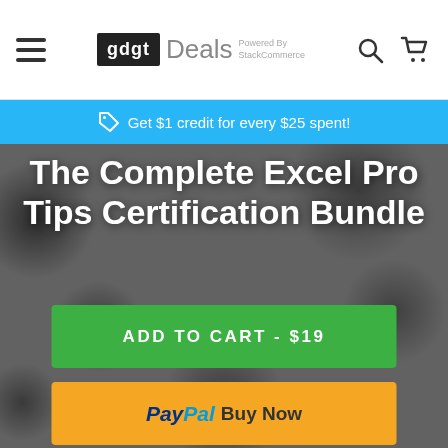gdgt Deals Powered By StackCommerce
Get $1 credit for every $25 spent!
The Complete Excel Pro Tips Certification Bundle
ADD TO CART - $19
PayPal Buy Now
1
$294 MSRP* 93% off